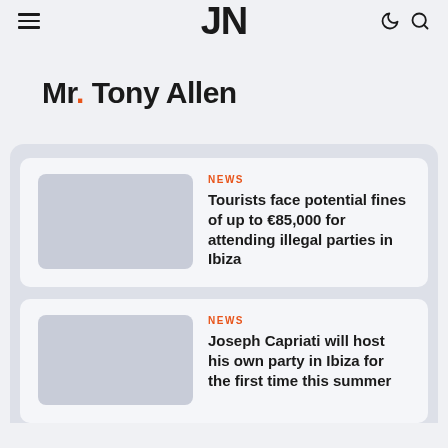JN (logo) with hamburger menu, moon icon, and search icon
Mr. Tony Allen
NEWS
Tourists face potential fines of up to €85,000 for attending illegal parties in Ibiza
NEWS
Joseph Capriati will host his own party in Ibiza for the first time this summer